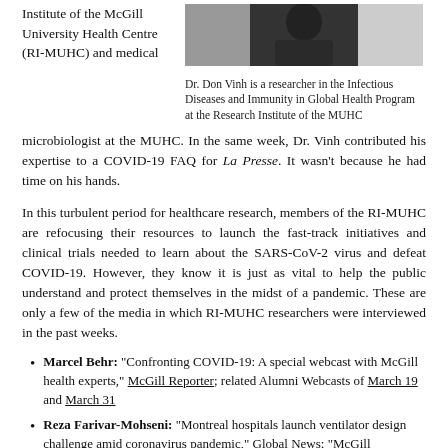Institute of the McGill University Health Centre (RI-MUHC) and medical microbiologist at the MUHC. In the same week, Dr. Vinh contributed his expertise to a COVID-19 FAQ for La Presse. It wasn't because he had time on his hands.
[Figure (photo): Black and white photo of Dr. Don Vinh]
Dr. Don Vinh is a researcher in the Infectious Diseases and Immunity in Global Health Program at the Research Institute of the MUHC
In this turbulent period for healthcare research, members of the RI-MUHC are refocusing their resources to launch the fast-track initiatives and clinical trials needed to learn about the SARS-CoV-2 virus and defeat COVID-19. However, they know it is just as vital to help the public understand and protect themselves in the midst of a pandemic. These are only a few of the media in which RI-MUHC researchers were interviewed in the past weeks.
Marcel Behr: “Confronting COVID-19: A special webcast with McGill health experts,” McGill Reporter; related Alumni Webcasts of March 19 and March 31
Reza Farivar-Mohseni: “Montreal hospitals launch ventilator design challenge amid coronavirus pandemic,” Global News; “McGill University research institute launches global contest to find new ventilator designs,” CBC News